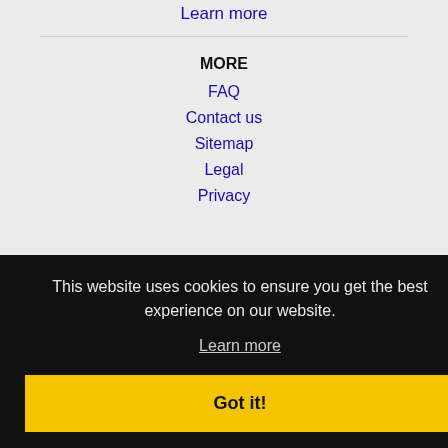Learn more
MORE
FAQ
Contact us
Sitemap
Legal
Privacy
This website uses cookies to ensure you get the best experience on our website.
Learn more
Got it!
Garmender, CA Jobs